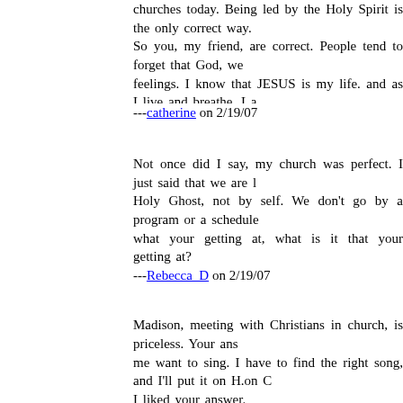churches today. Being led by the Holy Spirit is the only correct way. So you, my friend, are correct. People tend to forget that God, we feelings. I know that JESUS is my life. and as I live and breathe, I a take God with me everywhere I go, and He will lead me, even in chu
---catherine on 2/19/07
Not once did I say, my church was perfect. I just said that we are l Holy Ghost, not by self. We don't go by a program or a schedule what your getting at, what is it that your getting at?
---Rebecca_D on 2/19/07
Madison, meeting with Christians in church, is priceless. Your ans me want to sing. I have to find the right song, and I'll put it on H.on C I liked your answer.
---Rural_Cafe on 2/19/07
Rebecca, is yours the only perfect church?
Can others be formal, and meet the needs of its congregants?
---Observer on 2/19/07
Madison: God called me to sing. I sing songs that speak to my spiri learning sign language to worship songs. The songs that I can without crying is "Shout to the Lord" and "Lord, Prepare Me to Be a